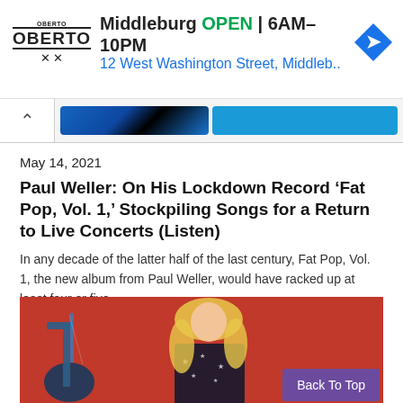[Figure (screenshot): Oberto brand advertisement banner showing Middleburg store location: OPEN 6AM-10PM, 12 West Washington Street, Middleb.. with blue navigation arrow icon]
[Figure (screenshot): Browser tab bar with back button (chevron up), dark blue/black tab strip and a blue tab]
May 14, 2021
Paul Weller: On His Lockdown Record ‘Fat Pop, Vol. 1,’ Stockpiling Songs for a Return to Live Concerts (Listen)
In any decade of the latter half of the last century, Fat Pop, Vol. 1, the new album from Paul Weller, would have racked up at least four or five...
[Figure (photo): Blonde woman in black star-patterned outfit holding a guitar against a red background]
Back To Top